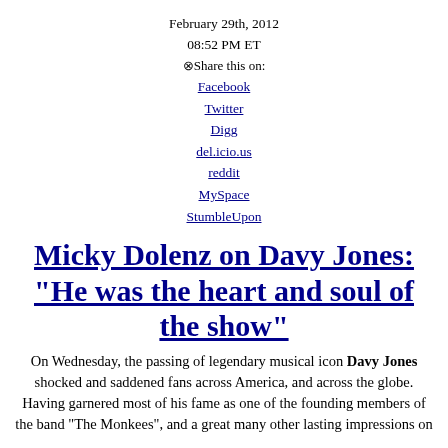February 29th, 2012
08:52 PM ET
⊗Share this on:
Facebook
Twitter
Digg
del.icio.us
reddit
MySpace
StumbleUpon
Micky Dolenz on Davy Jones: "He was the heart and soul of the show"
On Wednesday, the passing of legendary musical icon Davy Jones shocked and saddened fans across America, and across the globe. Having garnered most of his fame as one of the founding members of the band "The Monkees", and a great many other lasting impressions on